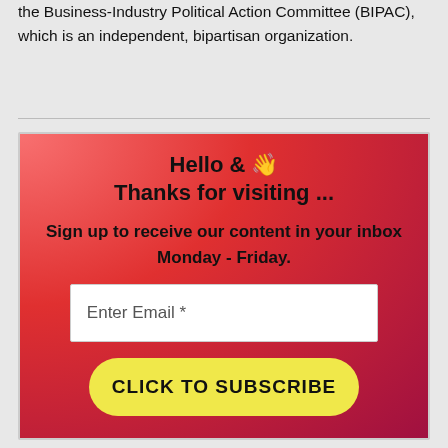the Business-Industry Political Action Committee (BIPAC), which is an independent, bipartisan organization.
[Figure (infographic): Newsletter subscription box with red-to-pink radial gradient background. Contains bold text: 'Hello & 👋', 'Thanks for visiting ...', 'Sign up to receive our content in your inbox', 'Monday - Friday.', a white email input field with placeholder 'Enter Email *', and a yellow rounded button labeled 'CLICK TO SUBSCRIBE'.]